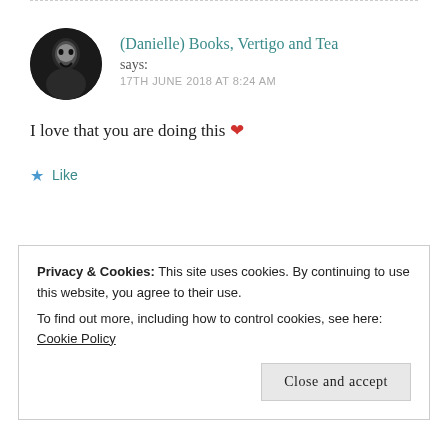(Danielle) Books, Vertigo and Tea says:
17TH JUNE 2018 AT 8:24 AM
I love that you are doing this ❤
★ Like
Privacy & Cookies: This site uses cookies. By continuing to use this website, you agree to their use.
To find out more, including how to control cookies, see here: Cookie Policy
Close and accept
16TH JUNE 2018 AT 11:00 PM